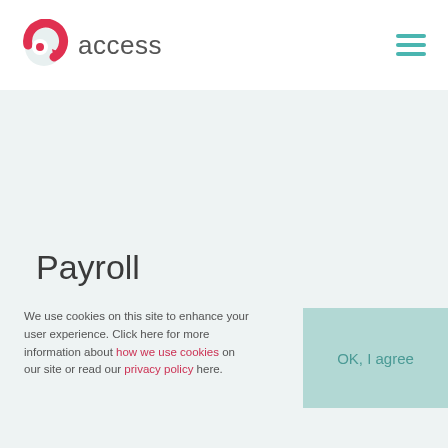[Figure (logo): Access group logo: red circular arrow/eye icon with text 'access' in gray]
Payroll
We use cookies on this site to enhance your user experience. Click here for more information about how we use cookies on our site or read our privacy policy here.